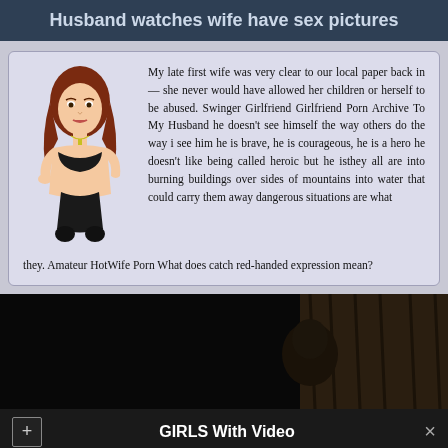Husband watches wife have sex pictures
My late first wife was very clear to our local paper back in — she never would have allowed her children or herself to be abused. Swinger Girlfriend Girlfriend Porn Archive To My Husband he doesn't see himself the way others do the way i see him he is brave, he is courageous, he is a hero he doesn't like being called heroic but he isthey all are into burning buildings over sides of mountains into water that could carry them away dangerous situations are what they. Amateur HotWife Porn What does catch red-handed expression mean?
[Figure (illustration): Illustrated figure of a woman with red hair in lingerie, kneeling pose]
[Figure (screenshot): Dark video frame showing a person's silhouette against curtains]
GIRLS With Video
SHOW ME